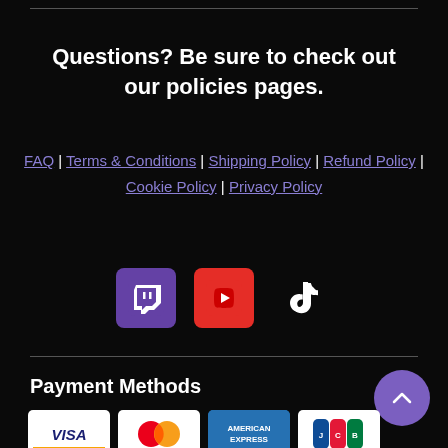Questions? Be sure to check out our policies pages.
FAQ | Terms & Conditions | Shipping Policy | Refund Policy | Cookie Policy | Privacy Policy
[Figure (logo): Twitch, YouTube, and TikTok social media icons]
Payment Methods
[Figure (logo): Payment method logos: Visa, Mastercard, American Express, JCB, Discover, UnionPay, Diners Club, PayPal (partial)]